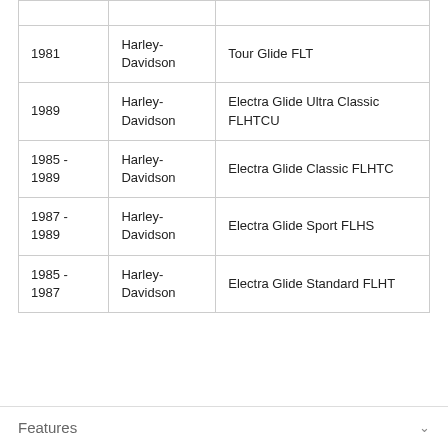| Year | Make | Model |
| --- | --- | --- |
| 1981 | Harley-Davidson | Tour Glide FLT |
| 1989 | Harley-Davidson | Electra Glide Ultra Classic FLHTCU |
| 1985 - 1989 | Harley-Davidson | Electra Glide Classic FLHTC |
| 1987 - 1989 | Harley-Davidson | Electra Glide Sport FLHS |
| 1985 - 1987 | Harley-Davidson | Electra Glide Standard FLHT |
Features